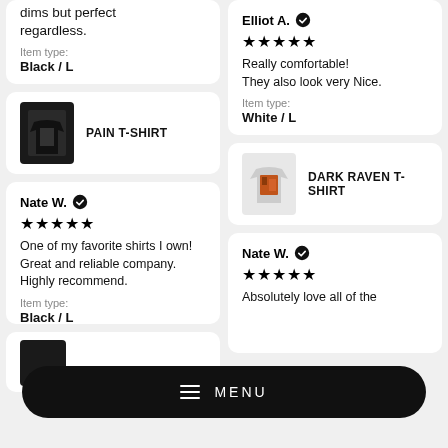dims but perfect regardless.
Item type: Black / L
[Figure (photo): PAIN T-SHIRT product thumbnail — black t-shirt with graphic print]
PAIN T-SHIRT
Elliot A. (verified)
★★★★★
Really comfortable! They also look very Nice.
Item type: White / L
[Figure (photo): DARK RAVEN T-SHIRT product thumbnail — white t-shirt with graphic print]
DARK RAVEN T-SHIRT
Nate W. (verified)
★★★★★
One of my favorite shirts I own! Great and reliable company. Highly recommend.
Item type: Black / L
Nate W. (verified)
★★★★★
Absolutely love all of the
MENU